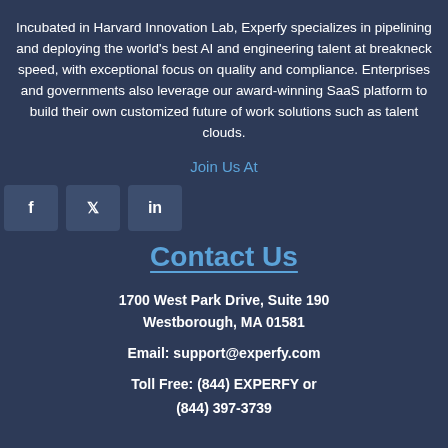Incubated in Harvard Innovation Lab, Experfy specializes in pipelining and deploying the world's best AI and engineering talent at breakneck speed, with exceptional focus on quality and compliance. Enterprises and governments also leverage our award-winning SaaS platform to build their own customized future of work solutions such as talent clouds.
Join Us At
[Figure (other): Social media icon buttons for Facebook, Twitter, and LinkedIn]
Contact Us
1700 West Park Drive, Suite 190
Westborough, MA 01581
Email: support@experfy.com
Toll Free: (844) EXPERFY or
(844) 397-3739